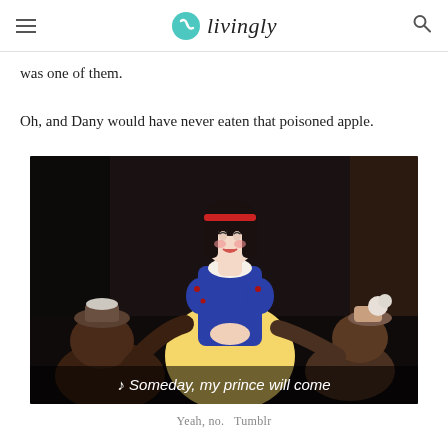livingly
was one of them.
Oh, and Dany would have never eaten that poisoned apple.
[Figure (screenshot): Screenshot from Disney's Snow White animated film showing Snow White smiling and leaning toward the seven dwarfs, with subtitle text reading '♪ Someday, my prince will come']
Yeah, no.  Tumblr